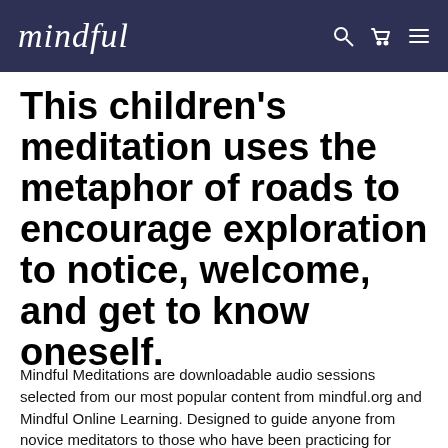mindful
This children's meditation uses the metaphor of roads to encourage exploration to notice, welcome, and get to know oneself.
Mindful Meditations are downloadable audio sessions selected from our most popular content from mindful.org and Mindful Online Learning. Designed to guide anyone from novice meditators to those who have been practicing for years, they're a simple way to create your own personal collection of helpful meditation and mindfulness practices from